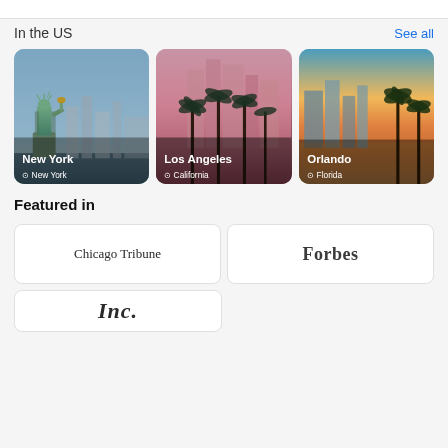In the US
See all
[Figure (photo): New York city card with Statue of Liberty. Text: New York, New York]
[Figure (photo): Los Angeles city card with downtown skyline and palm trees. Text: Los Angeles, California]
[Figure (photo): Orlando city card with waterfront skyline and palm trees at sunset. Text: Orlando, Florida]
Featured in
[Figure (logo): Chicago Tribune logo]
[Figure (logo): Forbes logo]
[Figure (logo): Inc. logo (partially visible)]